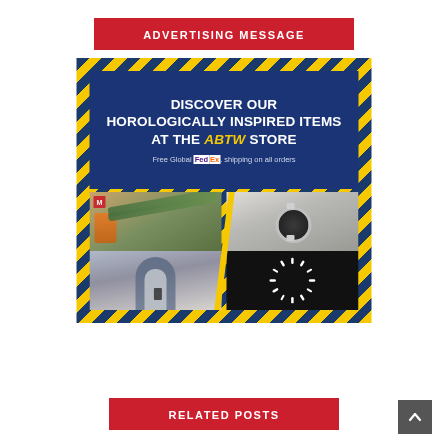ADVERTISING MESSAGE
[Figure (infographic): Advertisement banner for ABTW Store showing horologically inspired items. Blue banner with yellow/blue zebra-stripe border reads 'DISCOVER OUR HOROLOGICALLY INSPIRED ITEMS AT THE ABTW STORE' with 'Free Global FedEx shipping on all orders'. Below are four photo quadrants: watch straps and accessories top-left, silver watch top-right, person in blue robe bottom-left, clock face on black background bottom-right. Yellow diagonal divider between left and right columns.]
RELATED POSTS